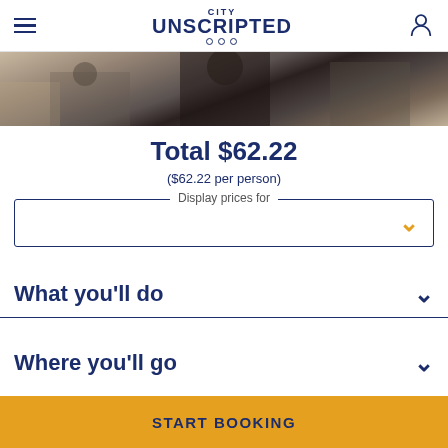City Unscripted
[Figure (photo): Hero image showing a crowd of tourists in front of an ornate building facade]
Total $62.22
($62.22 per person)
Display prices for
What you'll do
Where you'll go
START BOOKING